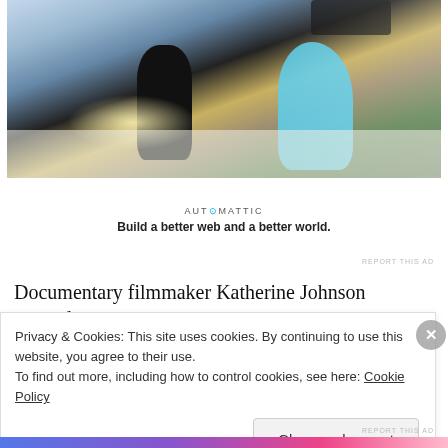[Figure (photo): A colorful outdoor dance scene with a person in a dark tuxedo dancing and another in a bright turquoise/blue gown, with snow or confetti on the ground and festive decorations in the background.]
[Figure (logo): Automattic logo with tagline: Build a better web and a better world.]
REPORT THIS AD
Documentary filmmaker Katherine Johnson wanted to
Privacy & Cookies: This site uses cookies. By continuing to use this website, you agree to their use.
To find out more, including how to control cookies, see here: Cookie Policy
Close and accept
REPORT THIS AD